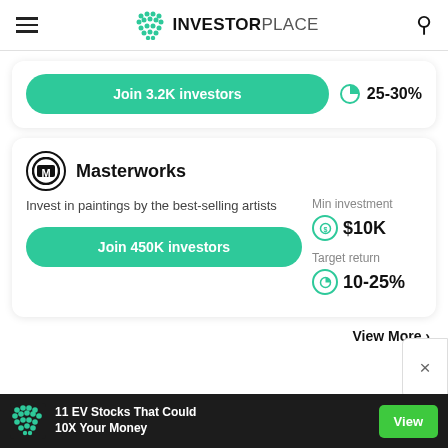INVESTORPLACE
Join 3.2K investors
25-30%
Masterworks
Invest in paintings by the best-selling artists
Min investment $10K
Target return 10-25%
Join 450K investors
View More
11 EV Stocks That Could 10X Your Money
View